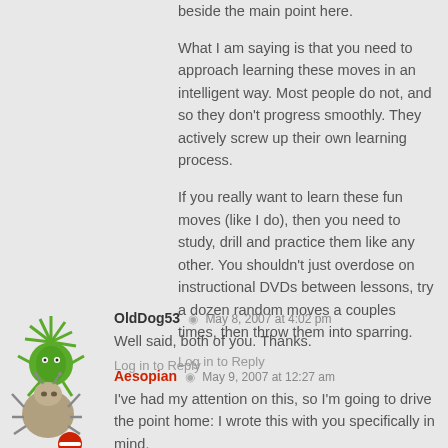beside the main point here.
What I am saying is that you need to approach learning these moves in an intelligent way. Most people do not, and so they don't progress smoothly. They actively screw up their own learning process.
If you really want to learn these fun moves (like I do), then you need to study, drill and practice them like any other. You shouldn't just overdose on instructional DVDs between lessons, try a dozen random moves a couples times, then throw them into sparring.
Log in to Reply
OldDog53  ◉  May 8, 2007 at 4:02 pm
Well said, both of you. Thanks.
Log in to Reply
Aesopian  ◉  May 9, 2007 at 12:27 am
I've had my attention on this, so I'm going to drive the point home: I wrote this with you specifically in mind.
I haven't really raked you over the coals much, since I know